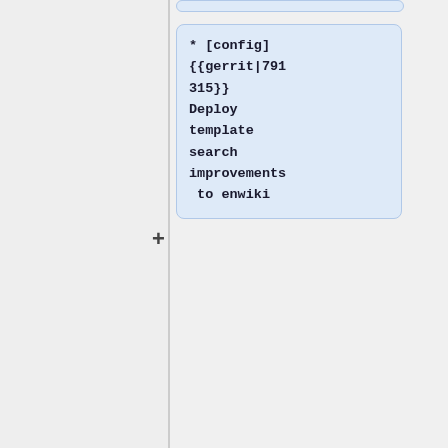* [config] {{gerrit|791315}} Deploy template search improvements to enwiki
{{ircnick|kart_|Kartik Mistry}}
* [config] {{gerrit|791481}} ''Enable Section Translation in bcl, is, ne, pa, ts